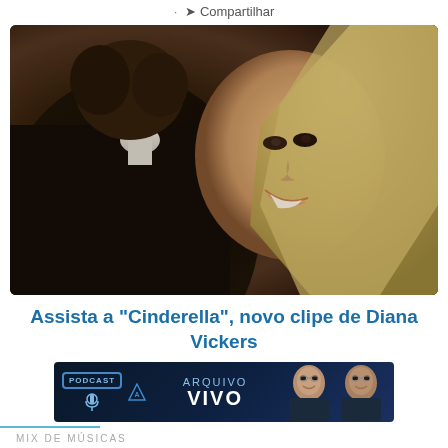· Compartilhar
[Figure (photo): A smiling blonde woman resting her chin on the shoulder of a dark-haired man in a black suit, in a warm-toned romantic scene.]
Assista a "Cinderella", novo clipe de Diana Vickers
· Compartilhar
[Figure (other): Banner advertisement for Podcast Arquivo Vivo featuring two men in suits]